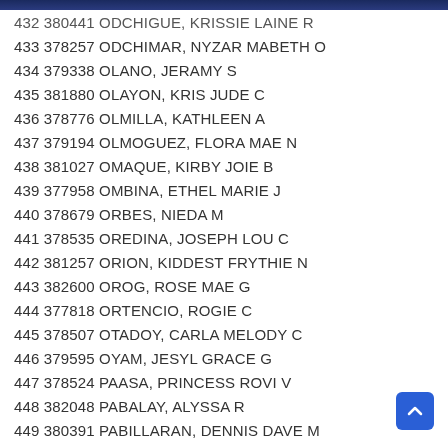432 380441 ODCHIGUE, KRISSIE LAINE R
433 378257 ODCHIMAR, NYZAR MABETH O
434 379338 OLANO, JERAMY S
435 381880 OLAYON, KRIS JUDE C
436 378776 OLMILLA, KATHLEEN A
437 379194 OLMOGUEZ, FLORA MAE N
438 381027 OMAQUE, KIRBY JOIE B
439 377958 OMBINA, ETHEL MARIE J
440 378679 ORBES, NIEDA M
441 378535 OREDINA, JOSEPH LOU C
442 381257 ORION, KIDDEST FRYTHIE N
443 382600 OROG, ROSE MAE G
444 377818 ORTENCIO, ROGIE C
445 378507 OTADOY, CARLA MELODY C
446 379595 OYAM, JESYL GRACE G
447 378524 PAASA, PRINCESS ROVI V
448 382048 PABALAY, ALYSSA R
449 380391 PABILLARAN, DENNIS DAVE M